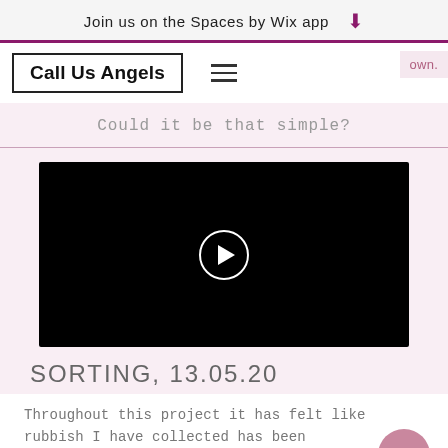Join us on the Spaces by Wix app ⬇
Call Us Angels
own.
Could it be that simple?
[Figure (screenshot): Black video player with white circular play button in center]
SORTING, 13.05.20
Throughout this project it has felt like rubbish I have collected has been invading my